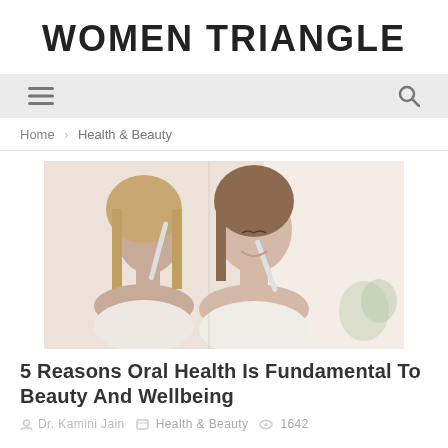WOMEN TRIANGLE
[Figure (screenshot): Navigation bar with hamburger menu icon on left and search icon on right, gray background]
Home › Health & Beauty
[Figure (photo): Woman brushing teeth with electric toothbrush, looking in mirror, soft light background]
5 Reasons Oral Health Is Fundamental To Beauty And Wellbeing
Dr. Kamini Jain   Health & Beauty   1642